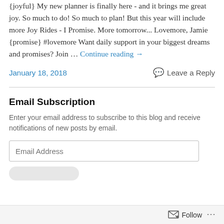{joyful} My new planner is finally here - and it brings me great joy. So much to do! So much to plan! But this year will include more Joy Rides - I Promise. More tomorrow... Lovemore, Jamie {promise} #lovemore Want daily support in your biggest dreams and promises? Join … Continue reading →
January 18, 2018
Leave a Reply
Email Subscription
Enter your email address to subscribe to this blog and receive notifications of new posts by email.
Email Address
Follow ...